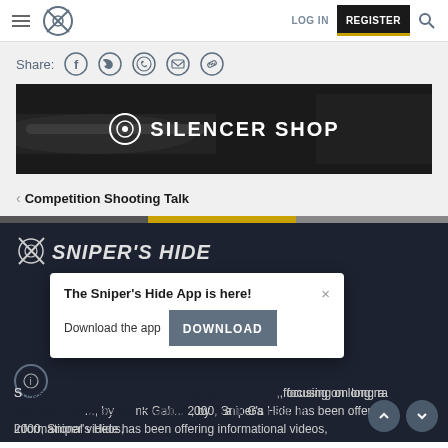Sniper's Hide navigation bar with hamburger menu, logo, LOG IN, REGISTER, and search icon
Share:
[Figure (screenshot): Silencer Shop banner advertisement with dark background and gun imagery]
< Competition Shooting Talk
[Figure (logo): Sniper's Hide logo on dark background]
[Figure (infographic): Popup: The Sniper's Hide App is here! Download the app [DOWNLOAD button]]
S... focusing on long ra... by ... Ga... 2000, Sniper's Hide has been offering informational videos,